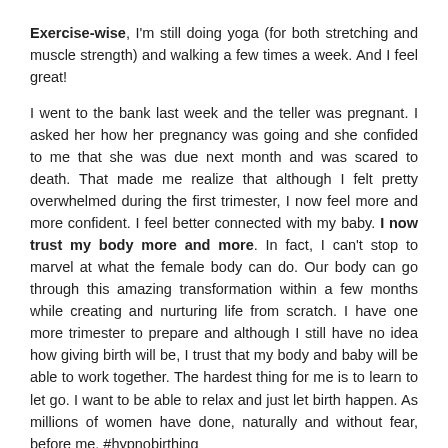Exercise-wise, I'm still doing yoga (for both stretching and muscle strength) and walking a few times a week. And I feel great!
I went to the bank last week and the teller was pregnant. I asked her how her pregnancy was going and she confided to me that she was due next month and was scared to death. That made me realize that although I felt pretty overwhelmed during the first trimester, I now feel more and more confident. I feel better connected with my baby. I now trust my body more and more. In fact, I can't stop to marvel at what the female body can do. Our body can go through this amazing transformation within a few months while creating and nurturing life from scratch. I have one more trimester to prepare and although I still have no idea how giving birth will be, I trust that my body and baby will be able to work together. The hardest thing for me is to learn to let go. I want to be able to relax and just let birth happen. As millions of women have done, naturally and without fear, before me. #hypnobirthing